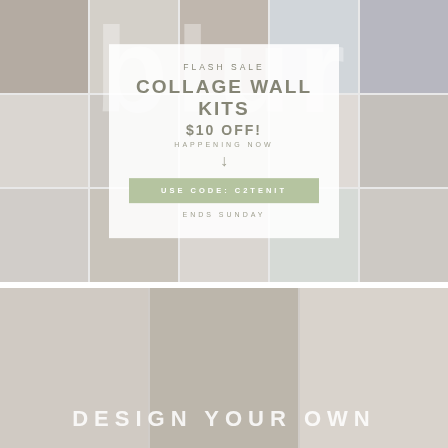[Figure (infographic): Flash Sale promotional banner for Collage Wall Kits. Top half shows a photo collage mosaic background with a white semi-transparent overlay card in the center. The card reads: FLASH SALE / COLLAGE WALL KITS / $10 OFF! / HAPPENING NOW / arrow / USE CODE: C2TENIT / ENDS SUNDAY. Large blurred decorative letters appear behind the collage grid.]
[Figure (photo): Bottom section showing a collage of photos (light backgrounds, people, objects) with large white bold uppercase text 'DESIGN YOUR OWN' overlaid at the bottom.]